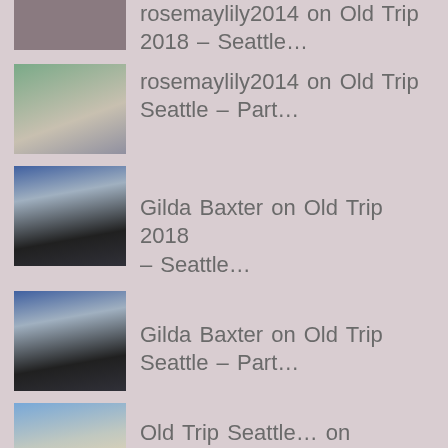rosemaylily2014 on Old Trip 2018 – Seattle…
rosemaylily2014 on Old Trip Seattle – Part…
Gilda Baxter on Old Trip 2018 – Seattle…
Gilda Baxter on Old Trip Seattle – Part…
Old Trip Seattle… on Skagway Part 3 – Dog Mus…
Old Trip Seattle… on Skagway – Klondike Gold…